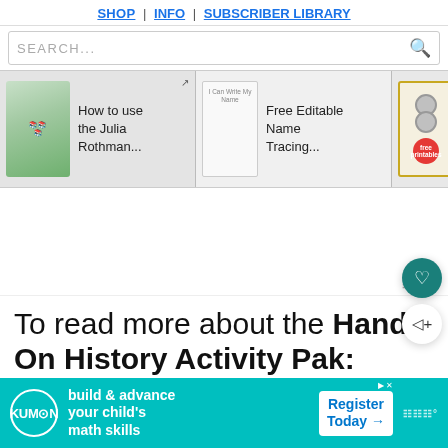SHOP | INFO | SUBSCRIBER LIBRARY
SEARCH...
[Figure (screenshot): Website navigation carousel with three items: 'How to use the Julia Rothman...', 'Free Editable Name Tracing...', 'Free All About Me Printables']
[Figure (screenshot): Advertisement white space area with moat brand watermark]
To read more about the Hands On History Activity Pak: Artist of the 16th-20th Centuries and to
[Figure (screenshot): Kumon advertisement banner: build & advance your child's math skills. Register Today.]